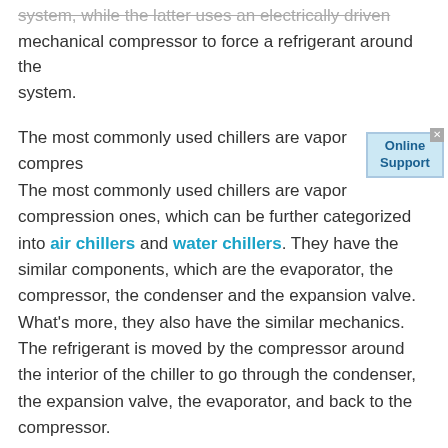system, while the latter uses an electrically driven mechanical compressor to force a refrigerant around the system.
The most commonly used chillers are vapor compression ones, which can be further categorized into air chillers and water chillers. They have the similar components, which are the evaporator, the compressor, the condenser and the expansion valve. What's more, they also have the similar mechanics. The refrigerant is moved by the compressor around the interior of the chiller to go through the condenser, the expansion valve, the evaporator, and back to the compressor.
What is the Difference Between Air-Cooled Chiller and Water-Cooled Chiller?
1. Different source of heat exchange. As their name suggests, the water-cooled chiller takes water as the